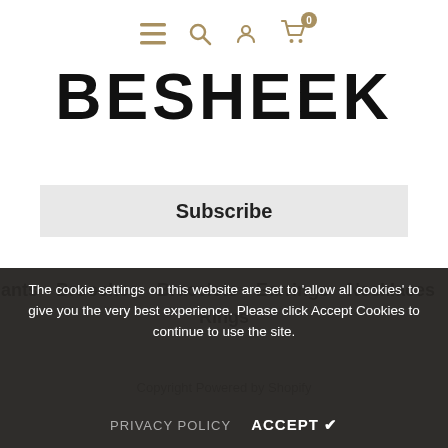≡ 🔍 👤 🛒 0
BESHEEK
Subscribe
Pendants
Brooches
Bracelets
Earrings
Necklaces
Sets
Rings
Copyright Powered by Shopify
The cookie settings on this website are set to 'allow all cookies' to give you the very best experience. Please click Accept Cookies to continue to use the site.
PRIVACY POLICY   ACCEPT ✔